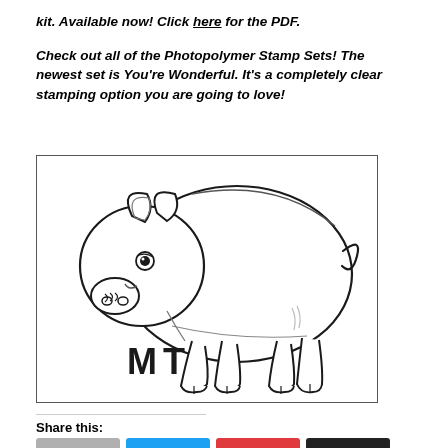kit. Available now! Click here for the PDF.
Check out all of the Photopolymer Stamp Sets! The newest set is You're Wonderful. It's a completely clear stamping option you are going to love!
[Figure (illustration): Line drawing of a pig in profile facing left, with the monogram initials 'MT' in the lower left corner of the image box.]
Share this: